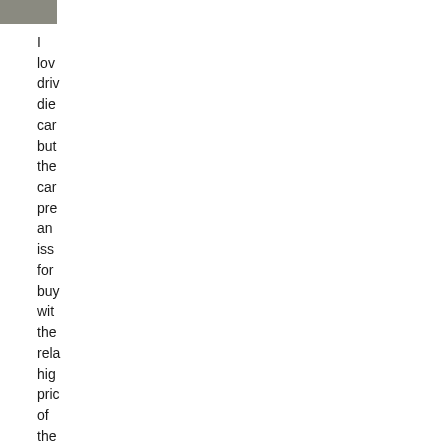[Figure (other): Small gray square/rectangle in top-left corner]
I
lov
driv
die
car
but
the
car
pre
an
iss
for
buy
wit
the
rela
hig
pric
of
the
fue
anc
the